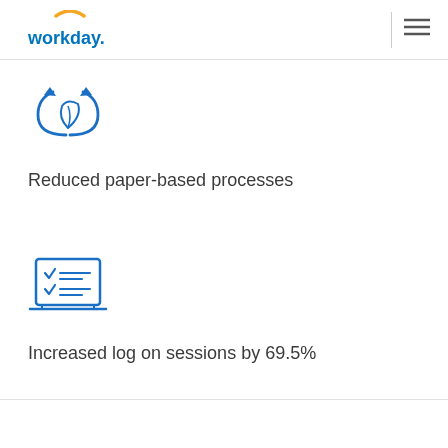workday.
[Figure (illustration): Blue icon of recycling/exchange arrows with leaf, representing reduced paper-based processes]
Reduced paper-based processes
[Figure (illustration): Blue icon of a laptop with checklist, representing increased log on sessions]
Increased log on sessions by 69.5%